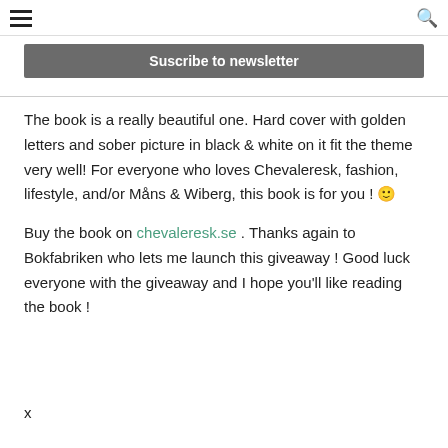≡  🔍
Suscribe to newsletter
The book is a really beautiful one. Hard cover with golden letters and sober picture in black & white on it fit the theme very well! For everyone who loves Chevaleresk, fashion, lifestyle, and/or Måns & Wiberg, this book is for you ! 🙂
Buy the book on chevaleresk.se . Thanks again to Bokfabriken who lets me launch this giveaway ! Good luck everyone with the giveaway and I hope you'll like reading the book !
x